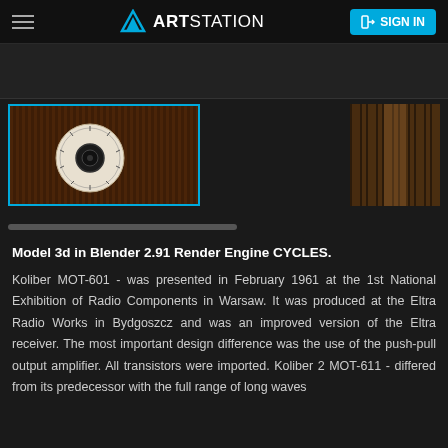ArtStation — SIGN IN
[Figure (screenshot): Dark image strip showing partial view of the radio model render]
[Figure (photo): Thumbnail gallery row: left thumbnail selected with cyan border showing Koliber radio with dial/tuner face and wood cabinet; right thumbnail showing wood ribbed panel close-up]
Model 3d in Blender 2.91 Render Engine CYCLES.
Koliber MOT-601 - was presented in February 1961 at the 1st National Exhibition of Radio Components in Warsaw. It was produced at the Eltra Radio Works in Bydgoszcz and was an improved version of the Eltra receiver. The most important design difference was the use of the push-pull output amplifier. All transistors were imported. Koliber 2 MOT-611 - differed from its predecessor with the full range of long waves